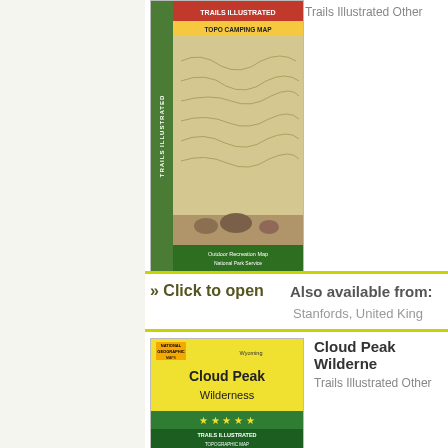[Figure (illustration): Trails Illustrated map cover - partially visible at top of page, showing topographic/terrain map with green and red header bars]
» Click to open
Also available from:
Stanfords, United King
Cloud Peak Wilderne
Trails Illustrated Other
[Figure (illustration): National Geographic Trails Illustrated Cloud Peak Wilderness map cover showing mountain landscape with yellow header]
» Click to open
Also available from:
Stanfords, United King
Weminuche Wilderne
Trails Illustrated Other
[Figure (illustration): National Geographic Trails Illustrated Weminuche Wilderness map cover - partially visible at bottom of page]